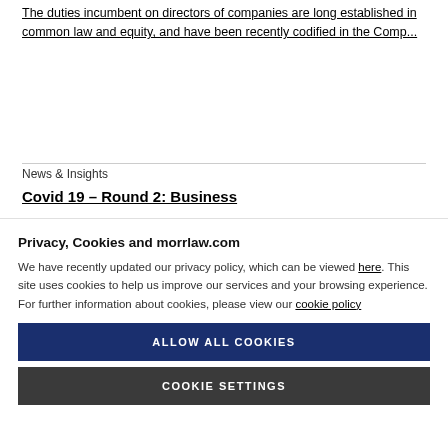The duties incumbent on directors of companies are long established in common law and equity, and have been recently codified in the Comp...
News & Insights
Covid 19 – Round 2: Business
Privacy, Cookies and morrlaw.com
We have recently updated our privacy policy, which can be viewed here. This site uses cookies to help us improve our services and your browsing experience. For further information about cookies, please view our cookie policy
ALLOW ALL COOKIES
COOKIE SETTINGS